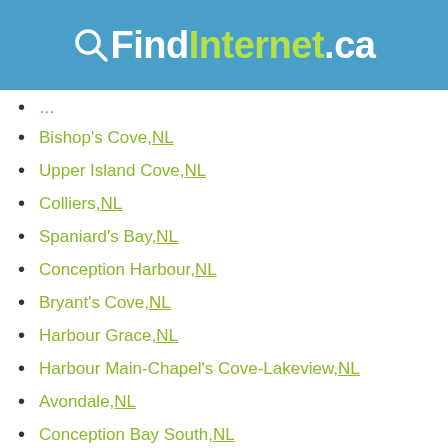QFindInternet.ca
Bishop's Cove, NL
Upper Island Cove, NL
Colliers, NL
Spaniard's Bay, NL
Conception Harbour, NL
Bryant's Cove, NL
Harbour Grace, NL
Harbour Main-Chapel's Cove-Lakeview, NL
Avondale, NL
Conception Bay South, NL
Carbonear, NL
Whiteway, NL
Wabana, NL